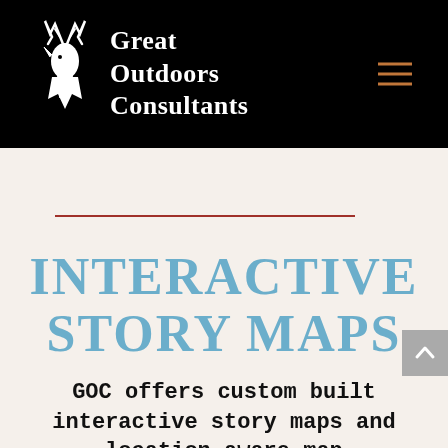Great Outdoors Consultants
INTERACTIVE STORY MAPS
GOC offers custom built interactive story maps and location aware map applications